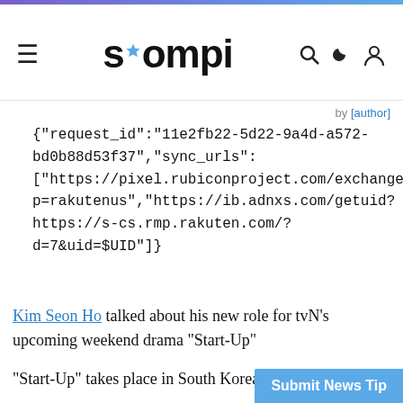soompi
by [author link]
{"request_id":"11e2fb22-5d22-9a4d-a572-bd0b88d53f37","sync_urls": ["https://pixel.rubiconproject.com/exchange/sy p=rakutenus","https://ib.adnxs.com/getuid? https://s-cs.rmp.rakuten.com/? d=7&uid=$UID"]}
Kim Seon Ho talked about his new role for tvN's upcoming weekend drama "Start-Up"
"Start-Up" takes place in South Korea's fictio...